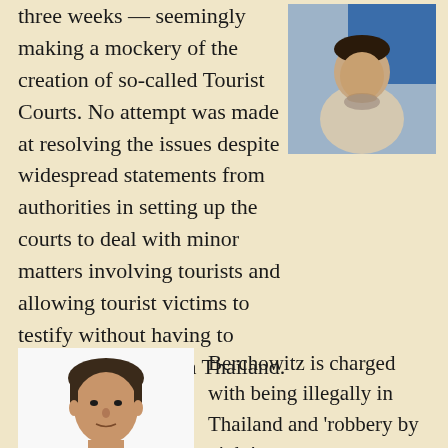three weeks — seemingly making a mockery of the creation of so-called Tourist Courts. No attempt was made at resolving the issues despite widespread statements from authorities in setting up the courts to deal with minor matters involving tourists and allowing tourist victims to testify without having to spend a long time in Thailand.
[Figure (photo): Photo of a man in a light-colored shirt, seated, with a blue flag or backdrop behind him.]
[Figure (photo): Photo of a man with short dark hair, appearing to be a mug shot or ID photo on white background.]
Berchowitz is charged with being illegally in Thailand and 'robbery by night'.